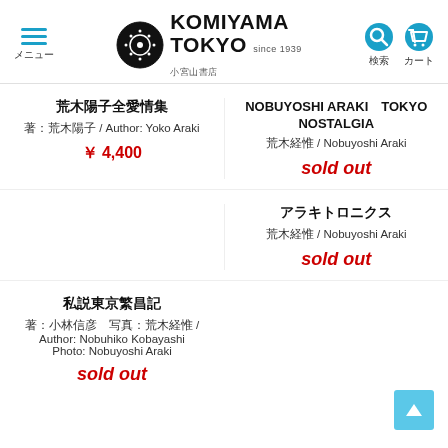KOMIYAMA TOKYO since 1939 小宮山書店 — メニュー / 検索 / カート
荒木陽子全愛情集
著：荒木陽子 / Author: Yoko Araki
¥ 4,400
NOBUYOSHI ARAKI　TOKYO NOSTALGIA
荒木経惟 / Nobuyoshi Araki
sold out
アラキトロニクス
荒木経惟 / Nobuyoshi Araki
sold out
私説東京繁昌記
著：小林信彦　写真：荒木経惟 / Author: Nobuhiko Kobayashi Photo: Nobuyoshi Araki
sold out